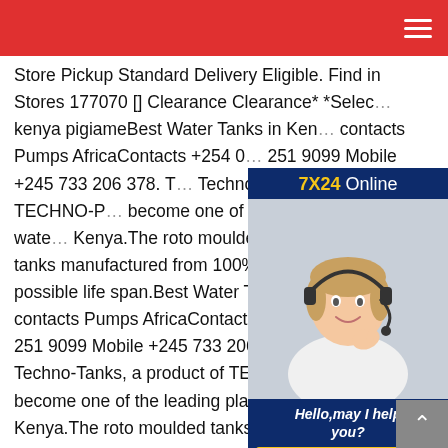Store Pickup Standard Delivery Eligible. Find in Stores 177070 [] Clearance Clearance* *Select kenya pigiameBest Water Tanks in Kenya - with contacts Pumps AfricaContacts +254 0 251 9099 Mobile +245 733 206 378. Techno-Tanks, a product of TECHNO-PLAST Ltd, has become one of the leading plastic water tanks in Kenya.The roto moulded tanks are the best tanks manufactured from 100% virgin material the longest possible life span.Best Water Tanks in Kenya - with contacts Pumps AfricaContacts +254 020 251 9098 / 251 9099 Mobile +245 733 206 378. Techno Tanks; Techno-Tanks, a product of TECHNO-PLAST Ltd, has become one of the leading plastic water tanks in Kenya.The roto moulded tanks are the
[Figure (photo): Chat widget showing '7X24 Online' header in dark blue, a photo of a customer service representative wearing a headset smiling, text 'Hello,may I help you?' and a yellow 'Get Latest Price' button]
[Figure (other): Back to top arrow button in grey]